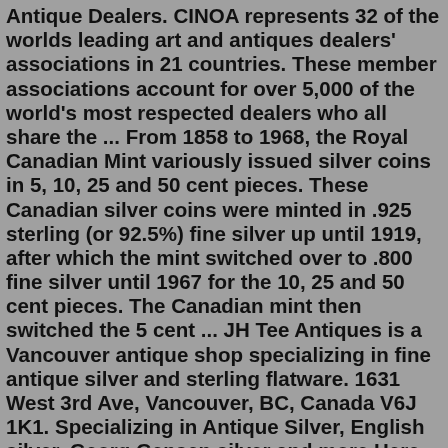Antique Dealers. CINOA represents 32 of the worlds leading art and antiques dealers' associations in 21 countries. These member associations account for over 5,000 of the world's most respected dealers who all share the ... From 1858 to 1968, the Royal Canadian Mint variously issued silver coins in 5, 10, 25 and 50 cent pieces. These Canadian silver coins were minted in .925 sterling (or 92.5%) fine silver up until 1919, after which the mint switched over to .800 fine silver until 1967 for the 10, 25 and 50 cent pieces. The Canadian mint then switched the 5 cent ... JH Tee Antiques is a Vancouver antique shop specializing in fine antique silver and sterling flatware. 1631 West 3rd Ave, Vancouver, BC, Canada V6J 1K1. Specializing in Antique Silver, English silver, Georg Gensen silver and more Here you will find antique and vintage items for sale that can be picked up, or delivered or shipped. For more information about our shop or a specific piece, you can reach us by phone at (416) 483-6471 or by email at david@bernardisantiques.com. We look forward to